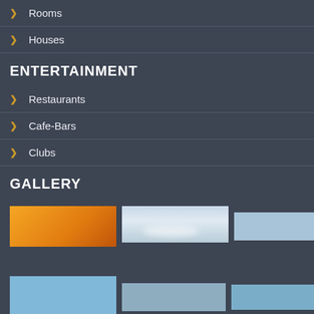Rooms
Houses
ENTERTAINMENT
Restaurants
Cafe-Bars
Clubs
GALLERY
[Figure (photo): Gallery grid showing three image thumbnails in top row: orange gradient image, clouds/sky photo, light blue rectangle]
[Figure (photo): Gallery grid showing three image thumbnails in bottom row: light blue rectangle, grey-blue rectangle, blue rectangle]